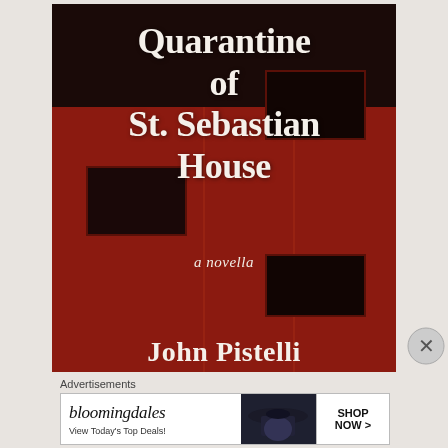[Figure (illustration): Book cover for 'Quarantine of St. Sebastian House, a novella' by John Pistelli. Dark red background showing a building facade with windows. White serif title text and author name.]
Advertisements
[Figure (screenshot): Bloomingdale's advertisement banner: 'bloomingdales / View Today's Top Deals!' with a woman in a hat and a 'SHOP NOW >' button.]